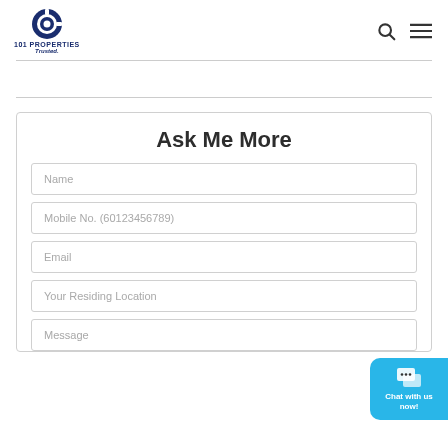[Figure (logo): 101 Properties logo with circular blue icon, text '101 PROPERTIES' and 'Trusted.' below]
Ask Me More
Name
Mobile No. (60123456789)
Email
Your Residing Location
Message
Chat with us now!